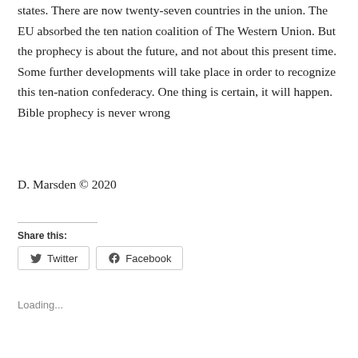states. There are now twenty-seven countries in the union. The EU absorbed the ten nation coalition of The Western Union. But the prophecy is about the future, and not about this present time. Some further developments will take place in order to recognize this ten-nation confederacy. One thing is certain, it will happen. Bible prophecy is never wrong
D. Marsden © 2020
Share this:
Twitter  Facebook
Loading...